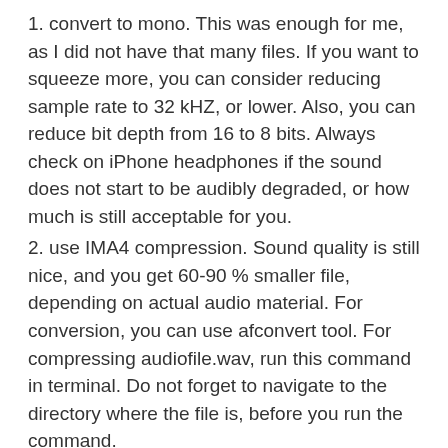1. convert to mono. This was enough for me, as I did not have that many files. If you want to squeeze more, you can consider reducing sample rate to 32 kHZ, or lower. Also, you can reduce bit depth from 16 to 8 bits. Always check on iPhone headphones if the sound does not start to be audibly degraded, or how much is still acceptable for you.
2. use IMA4 compression. Sound quality is still nice, and you get 60-90 % smaller file, depending on actual audio material. For conversion, you can use afconvert tool. For compressing audiofile.wav, run this command in terminal. Do not forget to navigate to the directory where the file is, before you run the command.
Now just add the sounds to the project and load them in to engine. Your app just got another dimension – sound.